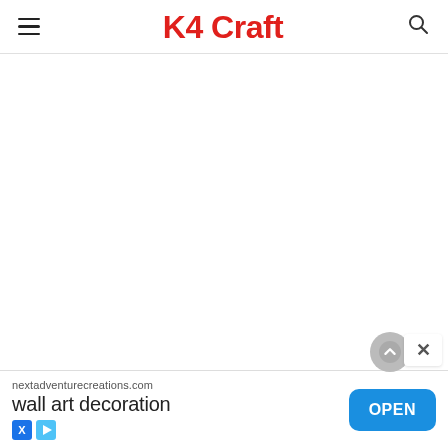K4 Craft
[Figure (screenshot): White empty content area below the K4 Craft website header]
[Figure (infographic): Advertisement banner at bottom: nextadventurecreations.com, wall art decoration, OPEN button. Close X button and scroll-to-top arrow button overlaid above.]